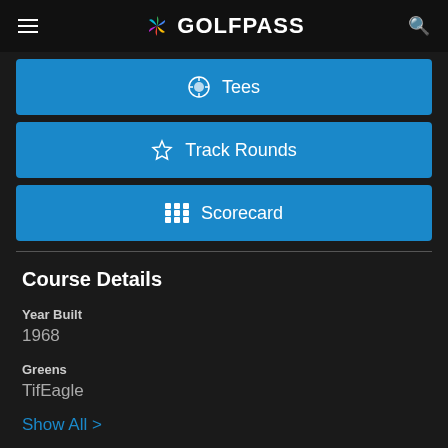GolfPass
Tees
Track Rounds
Scorecard
Course Details
Year Built
1968
Greens
TifEagle
Show All >